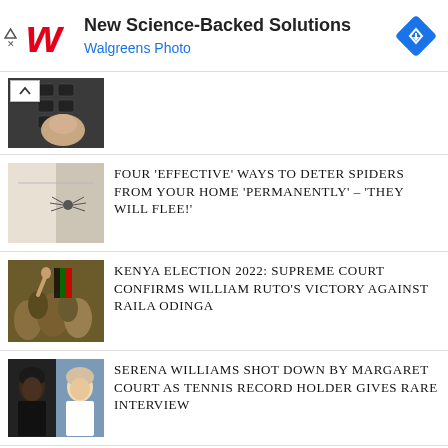[Figure (screenshot): Walgreens advertisement banner with red W logo, text 'New Science-Backed Solutions' and 'Walgreens Photo', and a blue diamond navigation icon on the right]
[Figure (photo): Thumbnail of a hand pressing keys on a keyboard, with scroll-up arrow button overlay]
[Figure (photo): Thumbnail showing spiders on a wall or surface]
FOUR ‘EFFECTIVE’ WAYS TO DETER SPIDERS FROM YOUR HOME ‘PERMANENTLY’ – ‘THEY WILL FLEE!'
[Figure (photo): Thumbnail showing crowd of people celebrating Kenya election, with Kenyan flag visible]
KENYA ELECTION 2022: SUPREME COURT CONFIRMS WILLIAM RUTO’S VICTORY AGAINST RAILA ODINGA
[Figure (photo): Thumbnail showing Serena Williams and Margaret Court side by side]
SERENA WILLIAMS SHOT DOWN BY MARGARET COURT AS TENNIS RECORD HOLDER GIVES RARE INTERVIEW